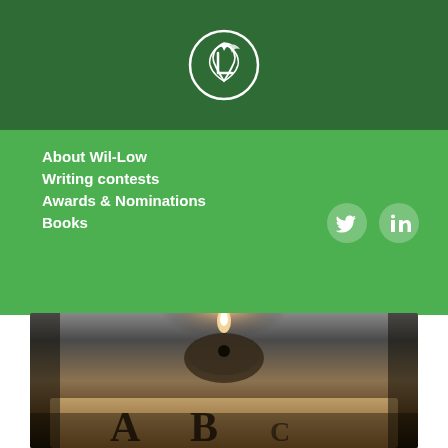[Figure (logo): Wil-Low logo: white cursive letters inside a white circle on dark green background]
About Wil-Low
Writing contests
Awards & Nominations
Books
2020-03-21
Ouija
[Figure (photo): Close-up dark photo of a Ouija board with a candle lit on the planchette, letters A and B visible at the bottom, moody dark atmosphere]